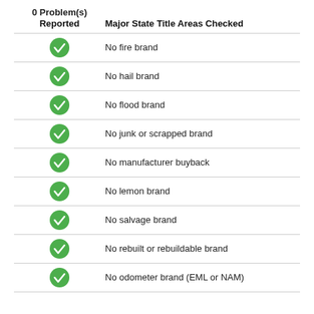| 0 Problem(s) Reported | Major State Title Areas Checked |
| --- | --- |
| ✓ | No fire brand |
| ✓ | No hail brand |
| ✓ | No flood brand |
| ✓ | No junk or scrapped brand |
| ✓ | No manufacturer buyback |
| ✓ | No lemon brand |
| ✓ | No salvage brand |
| ✓ | No rebuilt or rebuildable brand |
| ✓ | No odometer brand (EML or NAM) |